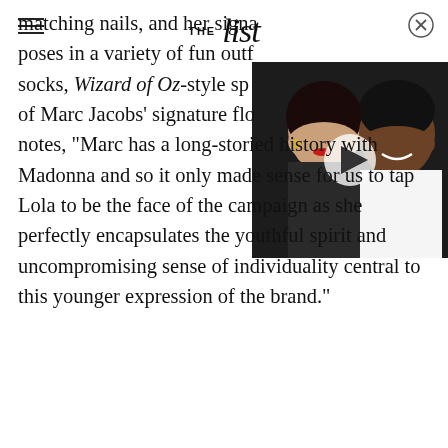THE list
matching nails, and her signa poses in a variety of fun outf socks, Wizard of Oz-style spa of Marc Jacobs' signature flo notes, "Marc has a long-storied history with Madonna and so it only made sense for us to tap Lola to be the face of the campaign as she perfectly encapsulates the youthful spirit and uncompromising sense of individuality central to this younger expression of the brand."
[Figure (photo): Video thumbnail showing a couple — a woman with dark hair and red lipstick and a man smiling — with a play button overlay]